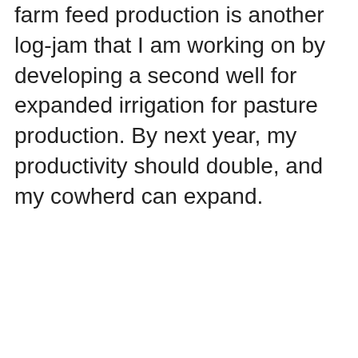farm feed production is another log-jam that I am working on by developing a second well for expanded irrigation for pasture production. By next year, my productivity should double, and my cowherd can expand.